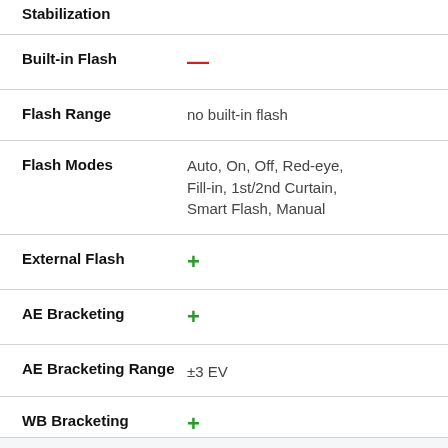Stabilization
| Feature | Value |
| --- | --- |
| Built-in Flash | — |
| Flash Range | no built-in flash |
| Flash Modes | Auto, On, Off, Red-eye, Fill-in, 1st/2nd Curtain, Smart Flash, Manual |
| External Flash | + |
| AE Bracketing | + |
| AE Bracketing Range | ±3 EV |
| WB Bracketing | + |